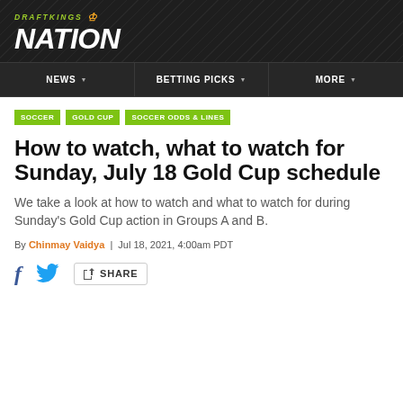DRAFTKINGS NATION
NEWS | BETTING PICKS | MORE
SOCCER | GOLD CUP | SOCCER ODDS & LINES
How to watch, what to watch for Sunday, July 18 Gold Cup schedule
We take a look at how to watch and what to watch for during Sunday's Gold Cup action in Groups A and B.
By Chinmay Vaidya | Jul 18, 2021, 4:00am PDT
SHARE